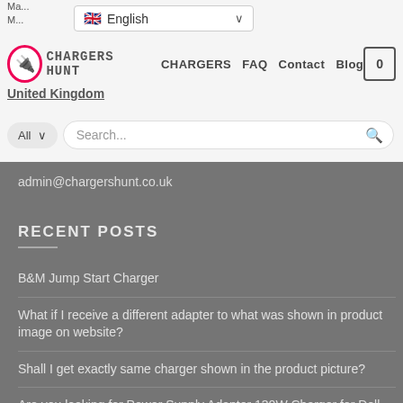English | CHARGERS HUNT | CHARGERS | FAQ | Contact | Blog | 0
admin@chargershunt.co.uk
RECENT POSTS
B&M Jump Start Charger
What if I receive a different adapter to what was shown in product image on website?
Shall I get exactly same charger shown in the product picture?
Are you looking for Power Supply Adapter 130W Charger for Dell VRV AC SH10...